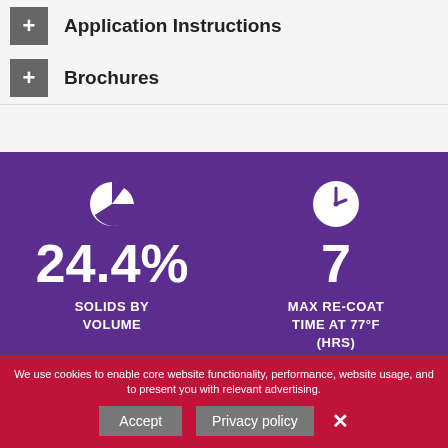+ Application Instructions
+ Brochures
[Figure (infographic): Purple background infographic showing two stats: 24.4% Solids By Volume (with pie chart icon) and 7 Max Re-Coat Time At 77°F (Hrs) (with clock icon)]
We use cookies to enable core website functionality, performance, website usage, and to present you with relevant advertising. We use cookies to enable core website functionality, performance, website usage, and to present you with relevant advertising.
Accept   Privacy policy   ×